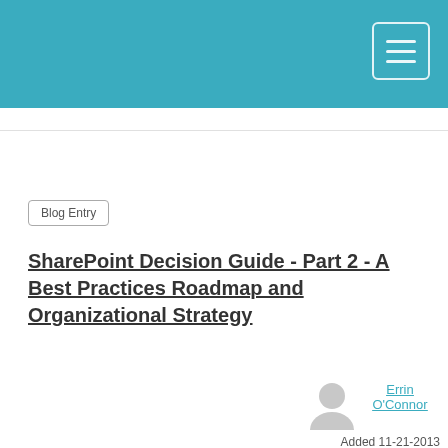Blog Entry
SharePoint Decision Guide - Part 2 - A Best Practices Roadmap and Organizational Strategy
[Figure (illustration): User avatar silhouette icon in grey]
Errin O'Connor
Added 11-21-2013
SharePoint 2013's Search and Scalability Recommendations SharePoint 2013's
In order to provide you with the most relevant and personalized experience, we have set our website to store cookies on your computer. By accepting, you agree that you are happy for us to use these cookies. To find out more about the cookies we use, see our Privacy Policy.
Accept
Decline